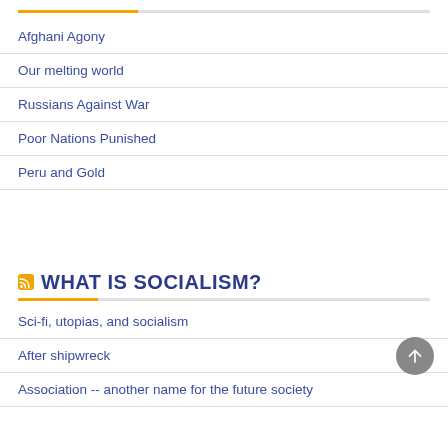Afghani Agony
Our melting world
Russians Against War
Poor Nations Punished
Peru and Gold
WHAT IS SOCIALISM?
Sci-fi, utopias, and socialism
After shipwreck
Association -- another name for the future society